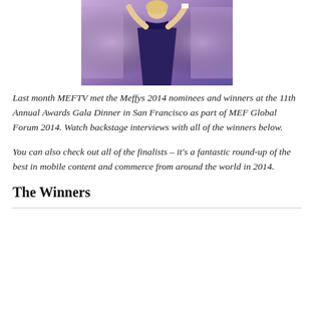[Figure (photo): Woman in a dark blue evening gown at an awards ceremony, standing on stage with arms raised, holding an object in one hand. Purple/lavender lit background.]
Last month MEFTV met the Meffys 2014 nominees and winners at the 11th Annual Awards Gala Dinner in San Francisco as part of MEF Global Forum 2014. Watch backstage interviews with all of the winners below.
You can also check out all of the finalists – it's a fantastic round-up of the best in mobile content and commerce from around the world in 2014.
The Winners